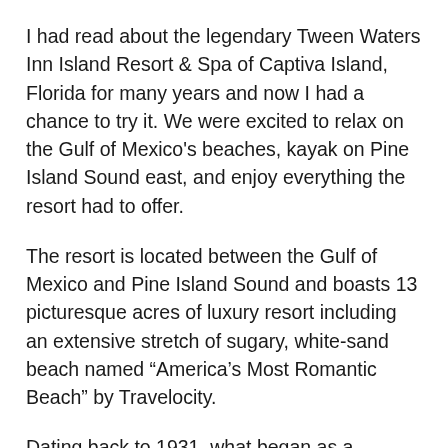I had read about the legendary Tween Waters Inn Island Resort & Spa of Captiva Island, Florida for many years and now I had a chance to try it. We were excited to relax on the Gulf of Mexico's beaches, kayak on Pine Island Sound east, and enjoy everything the resort had to offer.
The resort is located between the Gulf of Mexico and Pine Island Sound and boasts 13 picturesque acres of luxury resort including an extensive stretch of sugary, white-sand beach named “America’s Most Romantic Beach” by Travelocity.
Dating back to 1931, what began as a collection of fishing cottages now includes 137 units and cottages that vary from standard guest rooms, studios and three-bedroom suites to two- and three-bedroom historic cottages. Decorated in a rustic luxury style, many of the 19 historic cottages are named after the resort’s famous past visitors including Anne Morrow Lindbergh, J.N. “Ding” Darling, and Theodore Roosevelt.